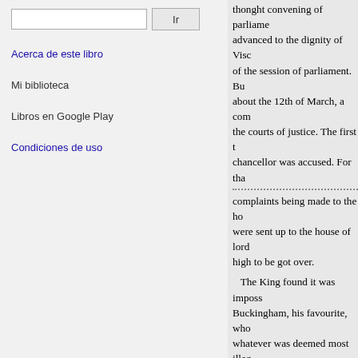Acerca de este libro
Mi biblioteca
Libros en Google Play
Condiciones de uso
thonght convening of parliame... advanced to the dignity of Visc... of the session of parliament. Bu... about the 12th of March, a com... the courts of justice. The first t... chancellor was accused. For tha... complaints being made to the ho... were sent up to the house of lord... high to be got over. The King found it was imposs... Buckingham, his favourite, who ... whatever was deemed most illeg... giving him positive advice to sub... him in the last determination, or,... favour. The chancellor, though h... obey; and the house of peers, on... 40,0001. and remain prisoner in... of any office, place, or employm... parliament, or come within the v... tarnished the glory of this illustri... servants, who made a corrupt us... his domestics were sitting, upon... been my fall." Stephens, p. 54. A